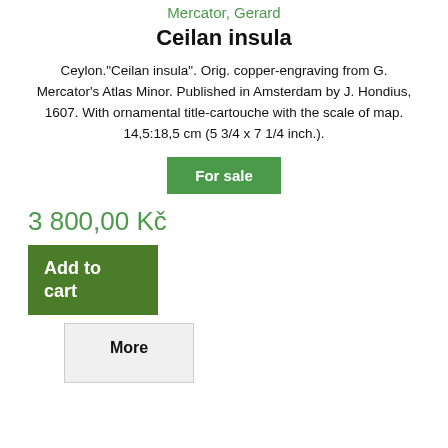Mercator, Gerard
Ceilan insula
Ceylon."Ceilan insula". Orig. copper-engraving from G. Mercator's Atlas Minor. Published in Amsterdam by J. Hondius, 1607. With ornamental title-cartouche with the scale of map. 14,5:18,5 cm (5 3/4 x 7 1/4 inch.).
For sale
3 800,00 Kč
Add to cart
More